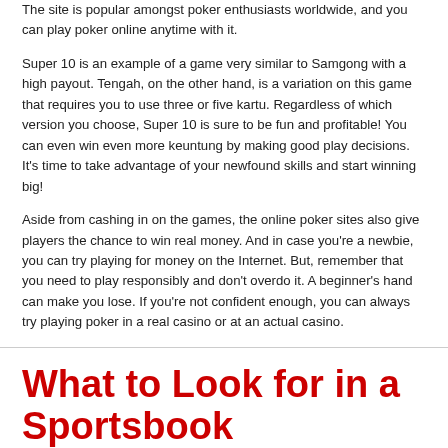The site is popular amongst poker enthusiasts worldwide, and you can play poker online anytime with it.
Super 10 is an example of a game very similar to Samgong with a high payout. Tengah, on the other hand, is a variation on this game that requires you to use three or five kartu. Regardless of which version you choose, Super 10 is sure to be fun and profitable! You can even win even more keuntung by making good play decisions. It's time to take advantage of your newfound skills and start winning big!
Aside from cashing in on the games, the online poker sites also give players the chance to win real money. And in case you're a newbie, you can try playing for money on the Internet. But, remember that you need to play responsibly and don't overdo it. A beginner's hand can make you lose. If you're not confident enough, you can always try playing poker in a real casino or at an actual casino.
What to Look for in a Sportsbook
On:  August 12, 2022
[Figure (photo): Photo partially visible at bottom of page]